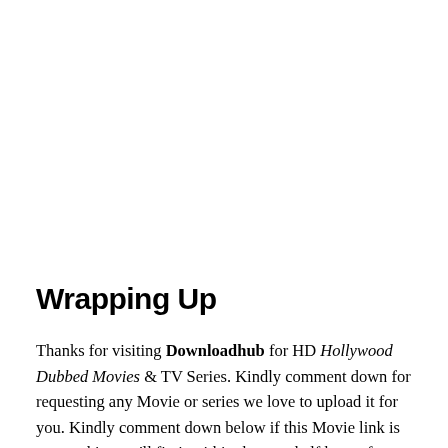Wrapping Up
Thanks for visiting Downloadhub for HD Hollywood Dubbed Movies & TV Series. Kindly comment down for requesting any Movie or series we love to upload it for you. Kindly comment down below if this Movie link is not working we'll fix it within the next half hour of